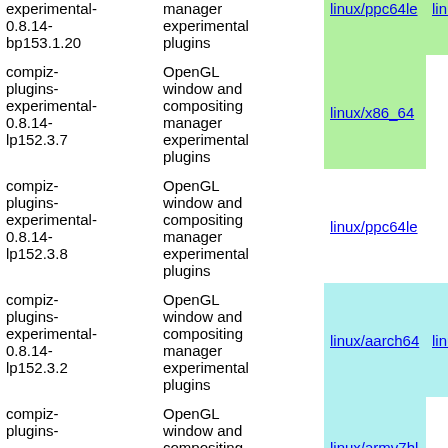| Package | Description | linux/ppc64le | linux/x86_64 | linux/aarch64 |
| --- | --- | --- | --- | --- |
| compiz-plugins-experimental-0.8.14-bp153.1.20 | OpenGL window and compositing manager experimental plugins | linux/ppc64le | linux/x86_64 | linux/aar... |
| compiz-plugins-experimental-0.8.14-lp152.3.7 | OpenGL window and compositing manager experimental plugins | linux/x86_64 |  |  |
| compiz-plugins-experimental-0.8.14-lp152.3.8 | OpenGL window and compositing manager experimental plugins | linux/ppc64le |  |  |
| compiz-plugins-experimental-0.8.14-lp152.3.2 | OpenGL window and compositing manager experimental plugins | linux/aarch64 | linux/armv7hl |  |
| compiz-plugins-... | OpenGL window and compositing ... | linux/armv7hl... |  |  |